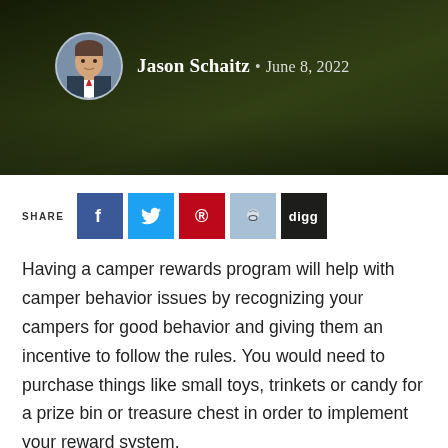[Figure (photo): Hero banner with dark green background (grass/field), circular author avatar photo of a man in a suit, author name 'Jason Schaitz' and date 'June 8, 2022' in white text]
SHARE [Facebook] [Twitter] [Pinterest] [Reddit] [digg]
Having a camper rewards program will help with camper behavior issues by recognizing your campers for good behavior and giving them an incentive to follow the rules. You would need to purchase things like small toys, trinkets or candy for a prize bin or treasure chest in order to implement your reward system.
Common reward systems have campers earn